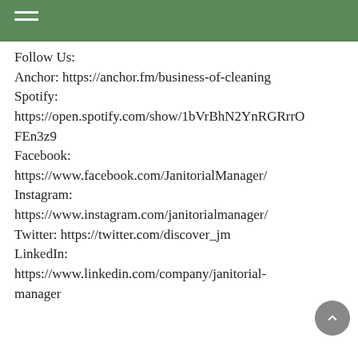Follow Us:
Anchor: https://anchor.fm/business-of-cleaning
Spotify:
https://open.spotify.com/show/1bVrBhN2YnRGRrrOFEn3z9
Facebook:
https://www.facebook.com/JanitorialManager/
Instagram:
https://www.instagram.com/janitorialmanager/
Twitter: https://twitter.com/discover_jm
LinkedIn:
https://www.linkedin.com/company/janitorial-manager